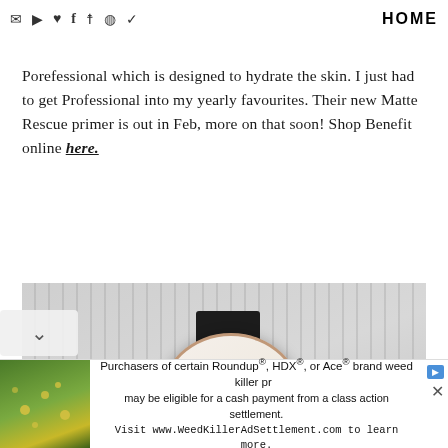HOME
dry skin now. I'm mainly excited about their new Matte Rescue Porefessional which is designed to hydrate the skin. I just had to get Professional into my yearly favourites. Their new Matte Rescue primer is out in Feb, more on that soon! Shop Benefit online here.
[Figure (photo): A hand holding a Daniel Wellington style watch with a white face and dark leather strap, against a blurred striped fabric background.]
Purchasers of certain Roundup®, HDX®, or Ace® brand weed killer products may be eligible for a cash payment from a class action settlement. Visit www.WeedKillerAdSettlement.com to learn more.